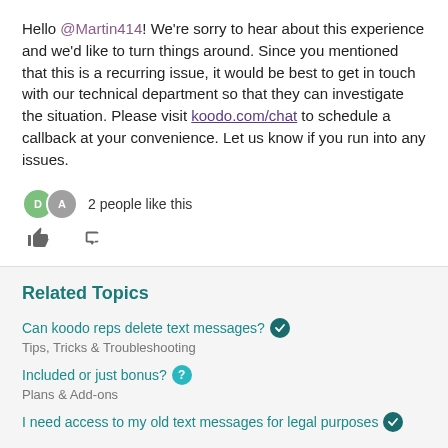Hello @Martin414! We're sorry to hear about this experience and we'd like to turn things around. Since you mentioned that this is a recurring issue, it would be best to get in touch with our technical department so that they can investigate the situation. Please visit koodo.com/chat to schedule a callback at your convenience. Let us know if you run into any issues.
2 people like this
Related Topics
Can koodo reps delete text messages?
Tips, Tricks & Troubleshooting
Included or just bonus?
Plans & Add-ons
I need access to my old text messages for legal purposes